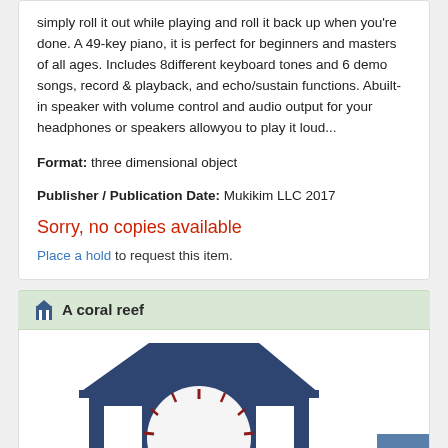simply roll it out while playing and roll it back up when you're done. A 49-key piano, it is perfect for beginners and masters of all ages. Includes 8different keyboard tones and 6 demo songs, record & playback, and echo/sustain functions. Abuilt-in speaker with volume control and audio output for your headphones or speakers allowyou to play it loud...
Format: three dimensional object
Publisher / Publication Date: Mukikim LLC 2017
Sorry, no copies available
Place a hold to request this item.
A coral reef
[Figure (illustration): Library building icon with clock face showing tick marks, dark navy blue color, partial view]